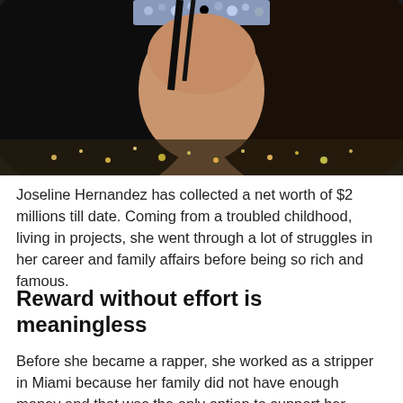[Figure (photo): Close-up photo of a woman with dark hair wearing a jeweled/beaded headpiece or crown accessory, with decorative outfit visible at bottom.]
Joseline Hernandez has collected a net worth of $2 millions till date. Coming from a troubled childhood, living in projects, she went through a lot of struggles in her career and family affairs before being so rich and famous.
Reward without effort is meaningless
Before she became a rapper, she worked as a stripper in Miami because her family did not have enough money and that was the only option to support her family financially. Out of five siblings, one of them suffers from matters. Therefore, they were the...